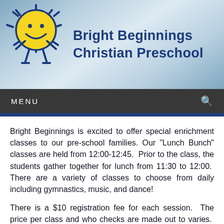[Figure (logo): Bright Beginnings Christian Preschool logo with smiling sun character and school name text on gradient blue-grey background]
MENU
Bright Beginnings is excited to offer special enrichment classes to our pre-school families. Our "Lunch Bunch" classes are held from 12:00-12:45.  Prior to the class, the students gather together for lunch from 11:30 to 12:00.  There are a variety of classes to choose from daily including gymnastics, music, and dance!
There is a $10 registration fee for each session.  The price per class and who checks are made out to varies.  Registration takes place online